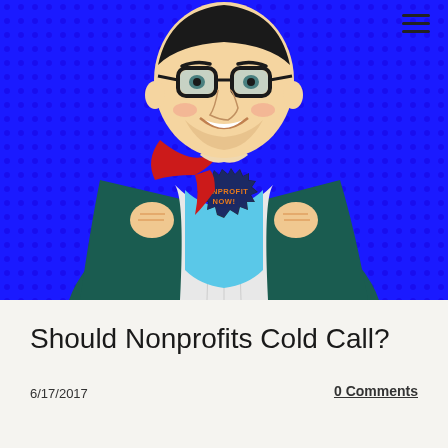[Figure (illustration): Comic book style illustration of a man in a business suit opening his shirt to reveal a blue superhero costume with 'NONPROFIT NOW!' text on the chest, set against a bright blue halftone dot background. Man has dark hair, glasses, and a red tie flying to the side.]
Should Nonprofits Cold Call?
6/17/2017
0 Comments